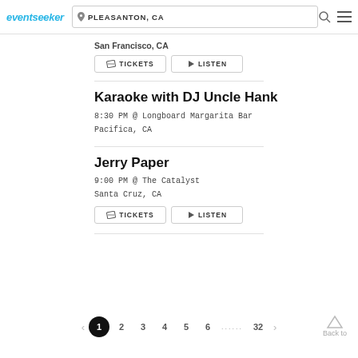eventseeker | PLEASANTON, CA
San Francisco, CA
TICKETS  LISTEN
Karaoke with DJ Uncle Hank
8:30 PM @ Longboard Margarita Bar
Pacifica, CA
Jerry Paper
9:00 PM @ The Catalyst
Santa Cruz, CA
TICKETS  LISTEN
1  2  3  4  5  6  ......  32